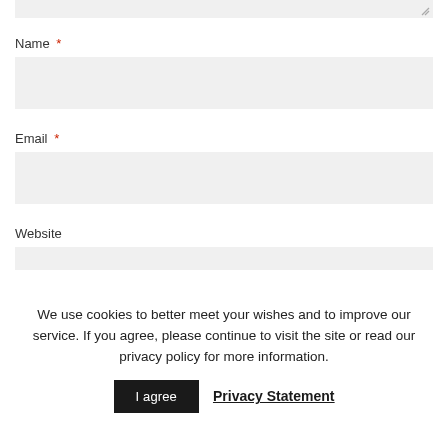Name *
[Figure (other): Name input field (text box, light gray background)]
Email *
[Figure (other): Email input field (text box, light gray background)]
Website
[Figure (other): Website input field (text box, light gray background, partially visible)]
We use cookies to better meet your wishes and to improve our service. If you agree, please continue to visit the site or read our privacy policy for more information.
I agree   Privacy Statement